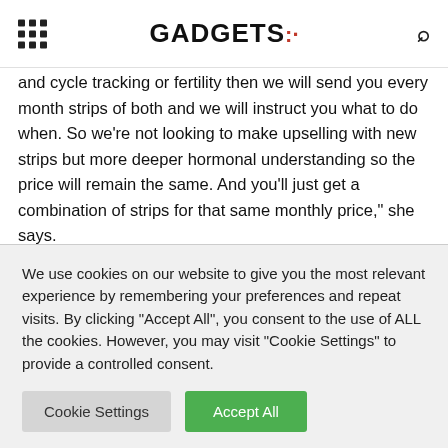GADGETS:
and cycle tracking or fertility then we will send you every month strips of both and we will instruct you what to do when. So we're not looking to make upselling with new strips but more deeper hormonal understanding so the price will remain the same. And you'll just get a combination of strips for that same monthly price," she says.

"I had so many people in this raise who said oh that would be
We use cookies on our website to give you the most relevant experience by remembering your preferences and repeat visits. By clicking "Accept All", you consent to the use of ALL the cookies. However, you may visit "Cookie Settings" to provide a controlled consent.